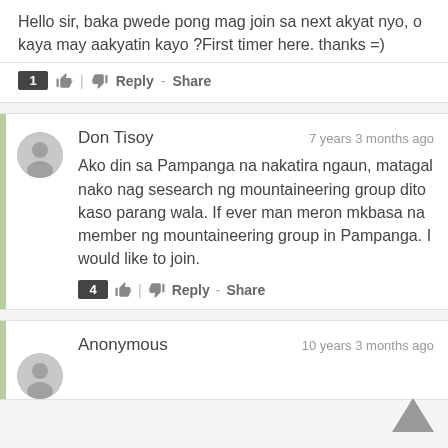Hello sir, baka pwede pong mag join sa next akyat nyo, o kaya may aakyatin kayo ?First timer here. thanks =)
1 👍 | 👎 Reply - Share
Don Tisoy  7 years 3 months ago
Ako din sa Pampanga na nakatira ngaun, matagal nako nag sesearch ng mountaineering group dito kaso parang wala. If ever man meron mkbasa na member ng mountaineering group in Pampanga. I would like to join.
4 👍 | 👎 Reply - Share
Anonymous  10 years 3 months ago